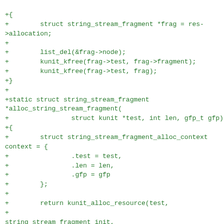+{
+        struct string_stream_fragment *frag = res->allocation;
+
+        list_del(&frag->node);
+        kunit_kfree(frag->test, frag->fragment);
+        kunit_kfree(frag->test, frag);
+}
+
+static struct string_stream_fragment
*alloc_string_stream_fragment(
+                struct kunit *test, int len, gfp_t gfp)
+{
+        struct string_stream_fragment_alloc_context
context = {
+                .test = test,
+                .len = len,
+                .gfp = gfp
+        };
+
+        return kunit_alloc_resource(test,
+
string_stream_fragment_init,
+
string_stream_fragment_free,
+                                        gfp,
+                                        &context);
+}
+
+static int string_stream_fragment_destroy(struct